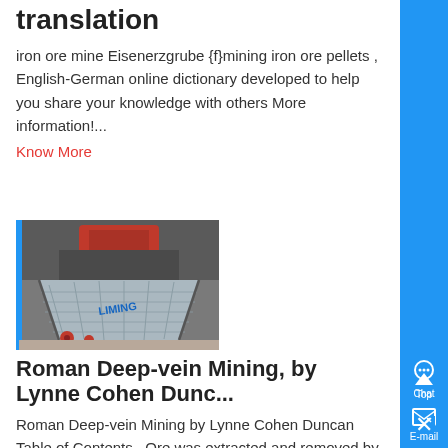translation
iron ore mine Eisenerzgrube {f}mining iron ore pellets , English-German online dictionary developed to help you share your knowledge with others More information!...
Know More
[Figure (photo): Industrial mining equipment - vibrating feeder/conveyor with metal frame on industrial floor]
Roman Deep-vein Mining, by Lynne Cohen Dunc...
Roman Deep-vein Mining by Lynne Cohen Duncan Table of Contents , Ore was extracted and removed by iron hand tools, a lifted up the shaft using a rope...
Know More